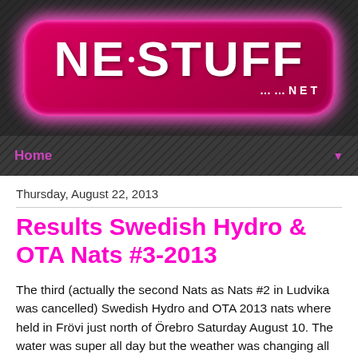[Figure (logo): NE:STUFF .....NET logo in white bold text on a pink/magenta rounded rectangle banner with glow effect on dark background]
Home ▼
Thursday, August 22, 2013
Results Swedish Hydro & OTA Nats #3-2013
The third (actually the second Nats as Nats #2 in Ludvika was cancelled) Swedish Hydro and OTA 2013 nats where held in Frövi just north of Örebro Saturday August 10. The water was super all day but the weather was changing all the time. Overall a very good race that ran like clockwork! :)
More pics from the race can be found HERE.
Next ... HERE